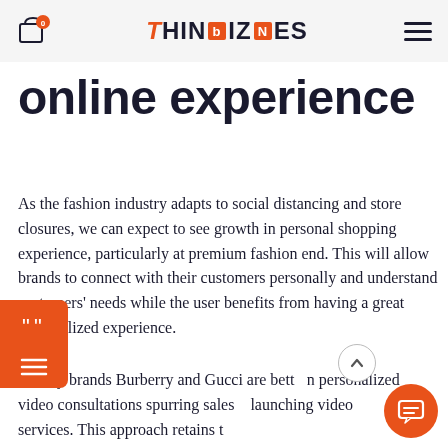THINBIZNES navigation bar with cart icon and menu
online experience
As the fashion industry adapts to social distancing and store closures, we can expect to see growth in personal shopping experience, particularly at premium fashion end. This will allow brands to connect with their customers personally and understand customers' needs while the user benefits from having a great personalized experience.
Luxury brands Burberry and Gucci are betting on personalized video consultations spurring sales by launching video services. This approach retains the